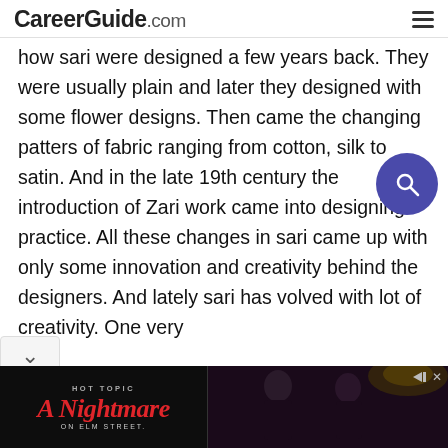CareerGuide.com
how sari were designed a few years back. They were usually plain and later they designed with some flower designs. Then came the changing patters of fabric ranging from cotton, silk to satin. And in the late 19th century the introduction of Zari work came into designing practice. All these changes in sari came up with only some innovation and creativity behind the designers. And lately sari has volved with lot of creativity. One very
[Figure (screenshot): HOT TOPIC advertisement banner for A Nightmare on Elm Street featuring stylized red text and two people in dark clothing]